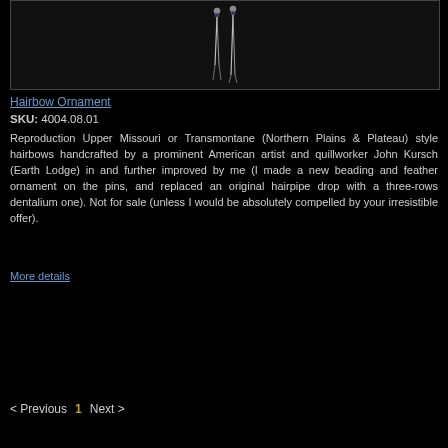[Figure (photo): Dark background photo showing a hairbow ornament — long thin vertical elements (pins/drops) with small beads and feather decorations at the top, against a black background.]
Hairbow Ornament
SKU: 4004.08.01
Reproduction Upper Missouri or Transmontane (Northern Plains & Plateau) style hairbows handcrafted by a prominent American artist and quillworker John Kursch (Earth Lodge) in and further improved by me (I made a new beading and feather ornament on the pins, and replaced an original hairpipe drop with a three-rows dentalium one). Not for sale (unless I would be absolutely compelled by your irresistible offer).
More details
< Previous  1  Next >